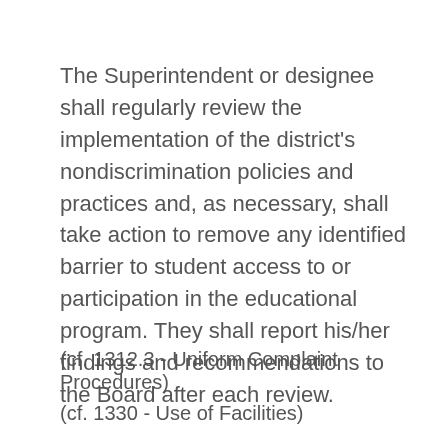The Superintendent or designee shall regularly review the implementation of the district's nondiscrimination policies and practices and, as necessary, shall take action to remove any identified barrier to student access to or participation in the educational program. They shall report his/her findings and recommendations to the Board after each review.
(cf. 1312.3 - Uniform Complaint Procedures)
(cf. 1330 - Use of Facilities)